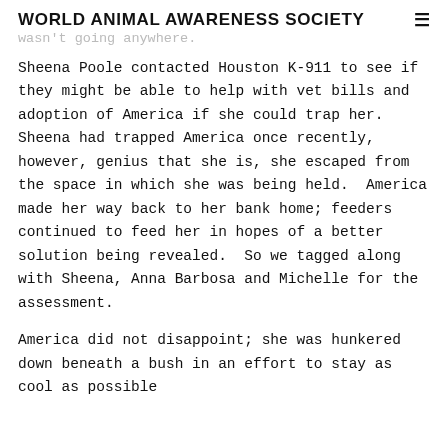WORLD ANIMAL AWARENESS SOCIETY
wasn't going anywhere.
Sheena Poole contacted Houston K-911 to see if they might be able to help with vet bills and adoption of America if she could trap her.  Sheena had trapped America once recently, however, genius that she is, she escaped from the space in which she was being held.  America made her way back to her bank home; feeders continued to feed her in hopes of a better solution being revealed.  So we tagged along with Sheena, Anna Barbosa and Michelle for the assessment.
America did not disappoint; she was hunkered down beneath a bush in an effort to stay as cool as possible